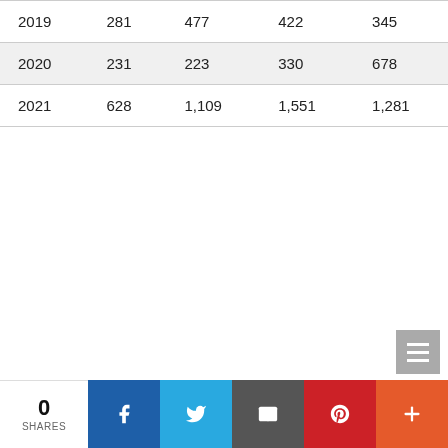| 2019 | 281 | 477 | 422 | 345 |
| 2020 | 231 | 223 | 330 | 678 |
| 2021 | 628 | 1,109 | 1,551 | 1,281 |
[Figure (other): Social sharing bar with share count (0 SHARES), Facebook, Twitter, Email, Pinterest, and more (+) buttons]